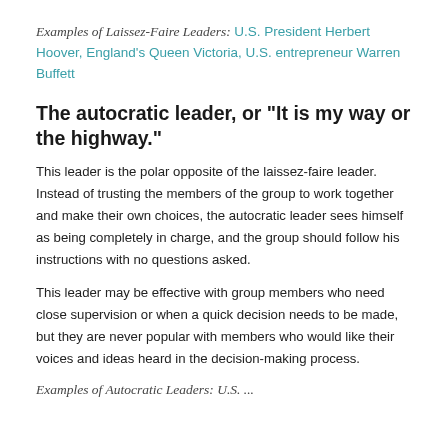Examples of Laissez-Faire Leaders: U.S. President Herbert Hoover, England's Queen Victoria, U.S. entrepreneur Warren Buffett
The autocratic leader, or “It is my way or the highway.”
This leader is the polar opposite of the laissez-faire leader. Instead of trusting the members of the group to work together and make their own choices, the autocratic leader sees himself as being completely in charge, and the group should follow his instructions with no questions asked.
This leader may be effective with group members who need close supervision or when a quick decision needs to be made, but they are never popular with members who would like their voices and ideas heard in the decision-making process.
Examples of Autocratic Leaders: U.S. ...